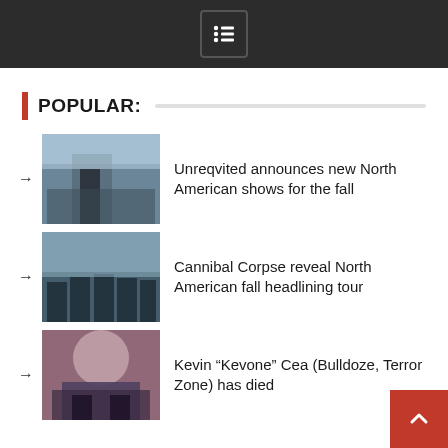Navigation menu icon
POPULAR:
Unreqvited announces new North American shows for the fall
Cannibal Corpse reveal North American fall headlining tour
Kevin “Kevone” Cea (Bulldoze, Terror Zone) has died